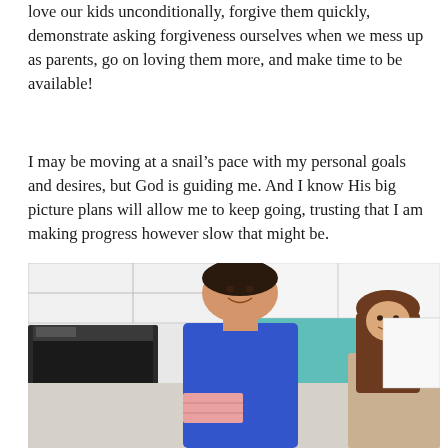love our kids unconditionally, forgive them quickly, demonstrate asking forgiveness ourselves when we mess up as parents, go on loving them more, and make time to be available!
I may be moving at a snail’s pace with my personal goals and desires, but God is guiding me. And I know His big picture plans will allow me to keep going, trusting that I am making progress however slow that might be.
[Figure (photo): A woman with dark hair pulled back, wearing a blue sleeveless top, smiling in a kitchen with white cabinets and a teal/turquoise backsplash. A young girl with long brown hair is partially visible on the right side.]